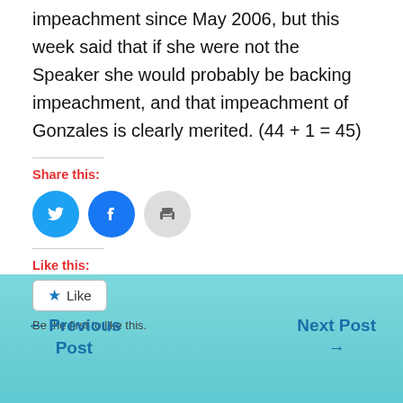impeachment since May 2006, but this week said that if she were not the Speaker she would probably be backing impeachment, and that impeachment of Gonzales is clearly merited. (44 + 1 = 45)
Share this:
[Figure (infographic): Three social sharing buttons: Twitter (blue circle with bird icon), Facebook (blue circle with F icon), Print (gray circle with printer icon)]
Like this:
[Figure (infographic): Like button with star icon and text 'Like']
Be the first to like this.
← Previous Post    Next Post →